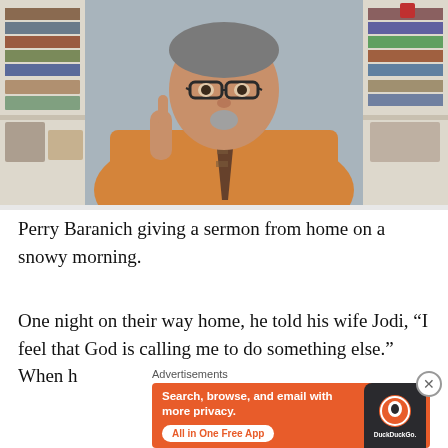[Figure (photo): Man in orange shirt and tie with glasses, giving a sermon from home via video, sitting in front of bookshelves. He is raising one finger as if making a point.]
Perry Baranich giving a sermon from home on a snowy morning.
One night on their way home, he told his wife Jodi, “I feel that God is calling me to do something else.” When he…
[Figure (screenshot): DuckDuckGo advertisement banner. Text reads: Search, browse, and email with more privacy. All in One Free App. Shows DuckDuckGo logo on a phone.]